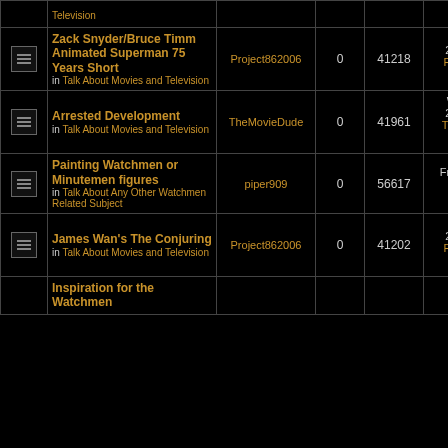|  | Topic | Author | Replies | Views | Last Post |
| --- | --- | --- | --- | --- | --- |
| [icon] | Television (partial top row) |  |  |  | →□ |
| [icon] | Zack Snyder/Bruce Timm Animated Superman 75 Years Short
in Talk About Movies and Television | Project862006 | 0 | 41218 | Mon Oct 14, 2013 8:31 pm
Project862006 →□ |
| [icon] | Arrested Development
in Talk About Movies and Television | TheMovieDude | 0 | 41961 | Wed May 29, 2013 7:50 pm
TheMovieDude →□ |
| [icon] | Painting Watchmen or Minutemen figures
in Talk About Any Other Watchmen Related Subject | piper909 | 0 | 56617 | Fri Apr 26, 2013 2:41 pm
piper909 →□ |
| [icon] | James Wan's The Conjuring
in Talk About Movies and Television | Project862006 | 0 | 41202 | Thu Feb 28, 2013 8:47 am
Project862006 →□ |
| [icon] | Inspiration for the Watchmen (partial bottom row) |  |  |  | Mon Jan 21 |